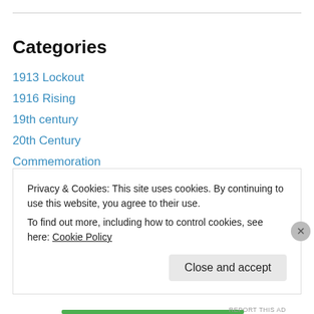Categories
1913 Lockout
1916 Rising
19th century
20th Century
Commemoration
Decade of Commemorations
Irish Civil War
Irish in World War I
Irish Labour
Irish Women
Privacy & Cookies: This site uses cookies. By continuing to use this website, you agree to their use.
To find out more, including how to control cookies, see here: Cookie Policy